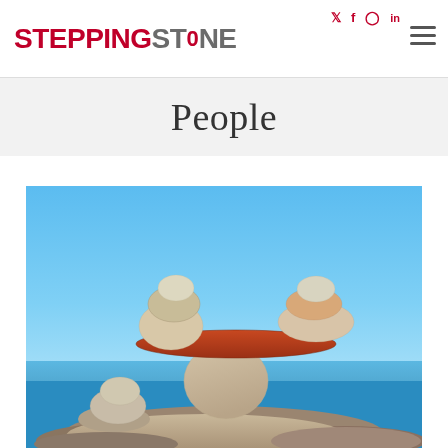STEPPINGSTONE — social icons: twitter, facebook, instagram, linkedin — hamburger menu
People
[Figure (photo): Photo of balanced stacked stones/pebbles against a blue sky and sea background, arranged in a scale-like formation on larger rocks.]